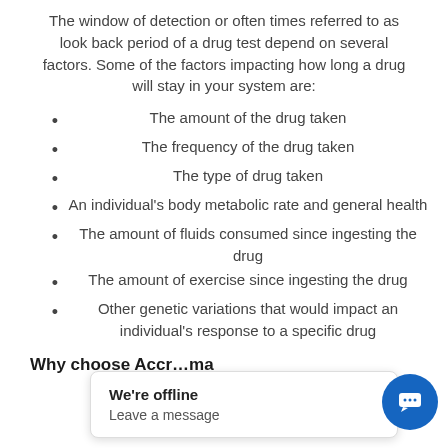The window of detection or often times referred to as look back period of a drug test depend on several factors. Some of the factors impacting how long a drug will stay in your system are:
The amount of the drug taken
The frequency of the drug taken
The type of drug taken
An individual's body metabolic rate and general health
The amount of fluids consumed since ingesting the drug
The amount of exercise since ingesting the drug
Other genetic variations that would impact an individual's response to a specific drug
Why choose Accr… [ma…]
We're offline
Leave a message